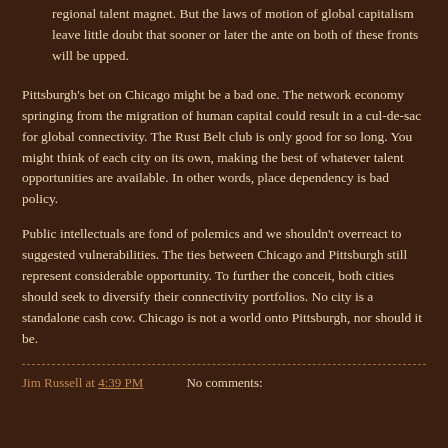regional talent magnet. But the laws of motion of global capitalism leave little doubt that sooner or later the ante on both of these fronts will be upped.
Pittsburgh's bet on Chicago might be a bad one. The network economy springing from the migration of human capital could result in a cul-de-sac for global connectivity. The Rust Belt club is only good for so long. You might think of each city on its own, making the best of whatever talent opportunities are available. In other words, place dependency is bad policy.
Public intellectuals are fond of polemics and we shouldn't overreact to suggested vulnerabilities. The ties between Chicago and Pittsburgh still represent considerable opportunity. To further the conceit, both cities should seek to diversify their connectivity portfolios. No city is a standalone cash cow. Chicago is not a world onto Pittsburgh, nor should it be.
Jim Russell at 4:39 PM    No comments: